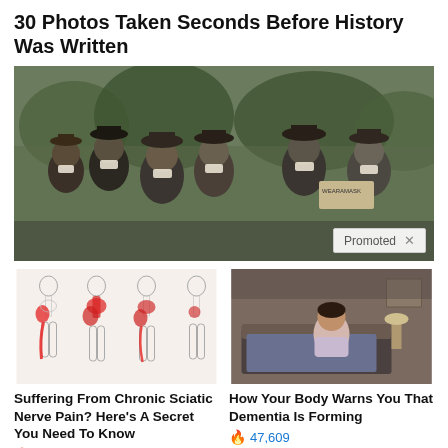30 Photos Taken Seconds Before History Was Written
[Figure (photo): Historical photograph of a group of people wearing face masks, standing outdoors. Appears to be from early 20th century. A 'Promoted X' badge is overlaid at the bottom right.]
[Figure (illustration): Medical illustration showing four human body outlines with sciatic nerve pain highlighted in red along the spine, hip, and leg areas.]
Suffering From Chronic Sciatic Nerve Pain? Here's A Secret You Need To Know
78,262
[Figure (photo): Photo of a person in pajamas sitting on the edge of a bed, head bowed, appearing distressed or tired.]
How Your Body Warns You That Dementia Is Forming
47,609